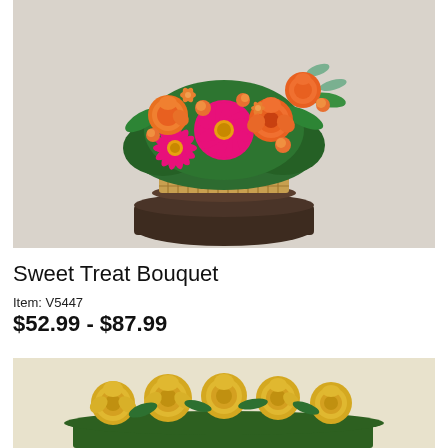[Figure (photo): Colorful flower bouquet in a wicker basket on a dark wooden pedestal. Features pink gerbera daisies, orange roses, orange alstroemeria, and green foliage against a light gray background.]
Sweet Treat Bouquet
Item: V5447
$52.99 - $87.99
[Figure (photo): Yellow roses bouquet, partially visible at bottom of page, against a light beige background.]